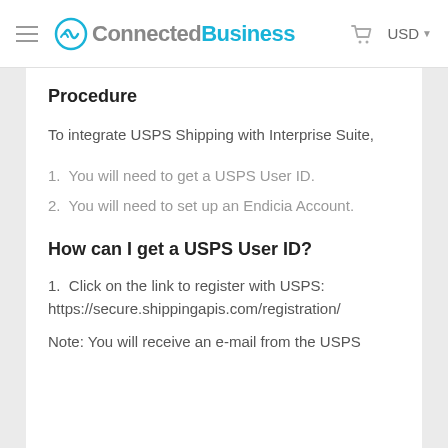ConnectedBusiness  USD
Procedure
To integrate USPS Shipping with Interprise Suite,
1. You will need to get a USPS User ID.
2. You will need to set up an Endicia Account.
How can I get a USPS User ID?
1. Click on the link to register with USPS: https://secure.shippingapis.com/registration/
Note: You will receive an e-mail from the USPS